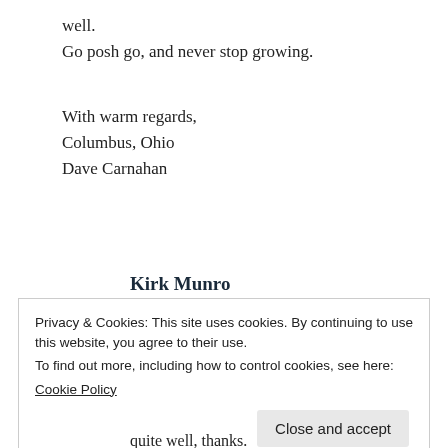well.
Go posh go, and never stop growing.
With warm regards,
Columbus, Ohio
Dave Carnahan
Kirk Munro
September 14, 2017    Reply
Privacy & Cookies: This site uses cookies. By continuing to use this website, you agree to their use.
To find out more, including how to control cookies, see here:
Cookie Policy
Close and accept
quite well, thanks.